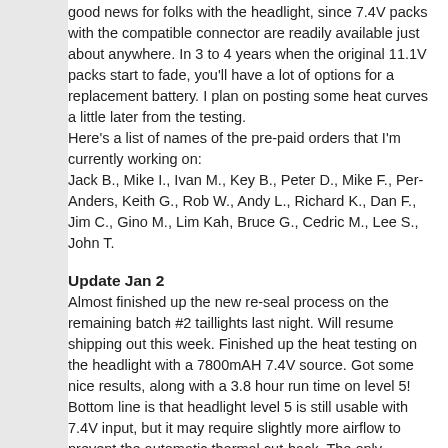good news for folks with the headlight, since 7.4V packs with the compatible connector are readily available just about anywhere. In 3 to 4 years when the original 11.1V packs start to fade, you'll have a lot of options for a replacement battery. I plan on posting some heat curves a little later from the testing.
Here's a list of names of the pre-paid orders that I'm currently working on:
Jack B., Mike I., Ivan M., Key B., Peter D., Mike F., Per-Anders, Keith G., Rob W., Andy L., Richard K., Dan F., Jim C., Gino M., Lim Kah, Bruce G., Cedric M., Lee S., John T.
Update Jan 2
Almost finished up the new re-seal process on the remaining batch #2 taillights last night. Will resume shipping out this week. Finished up the heat testing on the headlight with a 7800mAH 7.4V source. Got some nice results, along with a 3.8 hour run time on level 5! Bottom line is that headlight level 5 is still usable with 7.4V input, but it may require slightly more airflow to prevent the automatic thermal cut-back. The only requirement for using 7.4V on the headlight is a re-programming of the battery status voltage thresholds.
Update Jan 3
Finished up the last of the taillight seal re-works